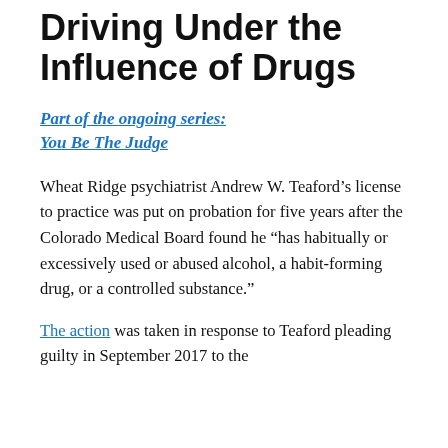Driving Under the Influence of Drugs
Part of the ongoing series:
You Be The Judge
Wheat Ridge psychiatrist Andrew W. Teaford’s license to practice was put on probation for five years after the Colorado Medical Board found he “has habitually or excessively used or abused alcohol, a habit-forming drug, or a controlled substance.”
The action was taken in response to Teaford pleading guilty in September 2017 to the